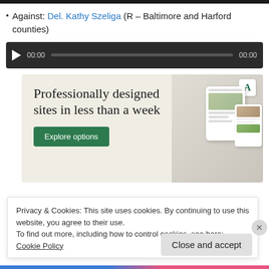Against: Del. Kathy Szeliga (R – Baltimore and Harford counties)
[Figure (other): Audio player widget with play button, timestamp 00:00, progress bar, and end time 00:00 on dark background]
[Figure (other): Advertisement: 'Professionally designed sites in less than a week' with Explore options button and website mockup images on beige background]
Privacy & Cookies: This site uses cookies. By continuing to use this website, you agree to their use. To find out more, including how to control cookies, see here: Cookie Policy
Close and accept